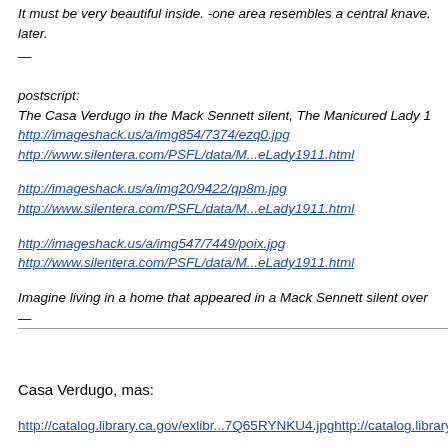It must be very beautiful inside. -one area resembles a central knave. later.
postscript:
The Casa Verdugo in the Mack Sennett silent, The Manicured Lady 1
http://imageshack.us/a/img854/7374/ezq0.jpg
http://www.silentera.com/PSFL/data/M...eLady1911.html

http://imageshack.us/a/img20/9422/qp8m.jpg
http://www.silentera.com/PSFL/data/M...eLady1911.html

http://imageshack.us/a/img547/7449/poix.jpg
http://www.silentera.com/PSFL/data/M...eLady1911.html

Imagine living in a home that appeared in a Mack Sennett silent over
Casa Verdugo, mas:
http://catalog.library.ca.gov/exlibr...7Q65RYNKU4.jpghttp://catalog.library.